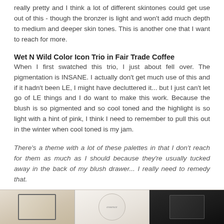really pretty and I think a lot of different skintones could get use out of this - though the bronzer is light and won't add much depth to medium and deeper skin tones. This is another one that I want to reach for more.
Wet N Wild Color Icon Trio in Fair Trade Coffee
When I first swatched this trio, I just about fell over. The pigmentation is INSANE. I actually don't get much use of this and if it hadn't been LE, I might have decluttered it... but I just can't let go of LE things and I do want to make this work. Because the blush is so pigmented and so cool toned and the highlight is so light with a hint of pink, I think I need to remember to pull this out in the winter when cool toned is my jam.
There's a theme with a lot of these palettes in that I don't reach for them as much as I should because they're usually tucked away in the back of my blush drawer... I really need to remedy that.
[Figure (photo): Three makeup products shown side by side: a square compact on the left with light beige powder, a round compact in the center with light powder, and a dark square compact on the right.]